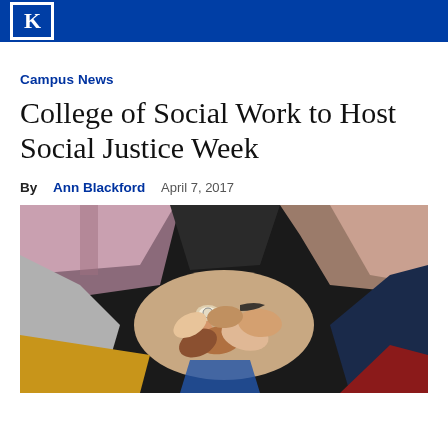University of Kentucky
Campus News
College of Social Work to Host Social Justice Week
By Ann Blackford  April 7, 2017
[Figure (photo): Overhead view of a diverse group of people placing their hands together in a circle, showing various skin tones and clothing colors including plaid, yellow, blue, and red.]